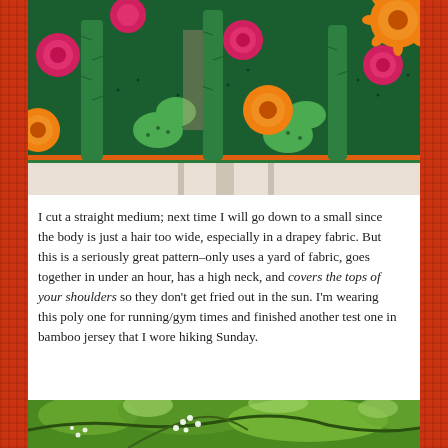[Figure (photo): Close-up of the hem of a colorful garment with a cactus and floral print fabric in green, pink, and orange, hanging on a white background.]
I cut a straight medium; next time I will go down to a small since the body is just a hair too wide, especially in a drapey fabric. But this is a seriously great pattern–only uses a yard of fabric, goes together in under an hour, has a high neck, and covers the tops of your shoulders so they don't get fried out in the sun. I'm wearing this poly one for running/gym times and finished another test one in bamboo jersey that I wore hiking Sunday.
[Figure (photo): Outdoor photo of green trees with leafy branches and some white flowering blooms, under bright sunlight.]